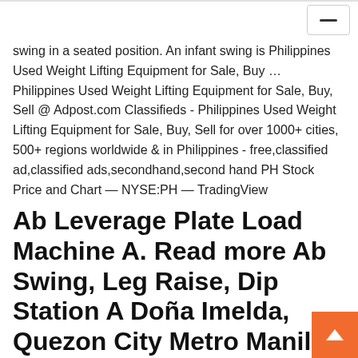swing in a seated position. An infant swing is Philippines Used Weight Lifting Equipment for Sale, Buy ... Philippines Used Weight Lifting Equipment for Sale, Buy, Sell @ Adpost.com Classifieds - Philippines Used Weight Lifting Equipment for Sale, Buy, Sell for over 1000+ cities, 500+ regions worldwide & in Philippines - free,classified ad,classified ads,secondhand,second hand PH Stock Price and Chart — NYSE:PH — TradingView
Ab Leverage Plate Load Machine A. Read more Ab Swing, Leg Raise, Dip Station A Doña Imelda, Quezon City Metro Manila, Philippines Zip code 1113.